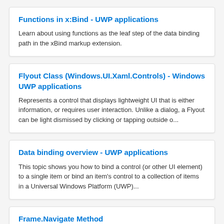Functions in x:Bind - UWP applications
Learn about using functions as the leaf step of the data binding path in the xBind markup extension.
Flyout Class (Windows.UI.Xaml.Controls) - Windows UWP applications
Represents a control that displays lightweight UI that is either information, or requires user interaction. Unlike a dialog, a Flyout can be light dismissed by clicking or tapping outside o...
Data binding overview - UWP applications
This topic shows you how to bind a control (or other UI element) to a single item or bind an item's control to a collection of items in a Universal Windows Platform (UWP)...
Frame.Navigate Method